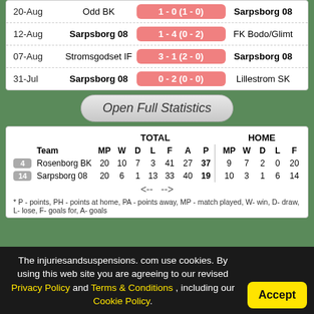| Date | Home | Score | Away |
| --- | --- | --- | --- |
| 20-Aug | Odd BK | 1 - 0 (1 - 0) | Sarpsborg 08 |
| 12-Aug | Sarpsborg 08 | 1 - 4 (0 - 2) | FK Bodo/Glimt |
| 07-Aug | Stromsgodset IF | 3 - 1 (2 - 0) | Sarpsborg 08 |
| 31-Jul | Sarpsborg 08 | 0 - 2 (0 - 0) | Lillestrom SK |
Open Full Statistics
|  | Team | MP | W | D | L | F | A | P | MP | W | D | L | F |
| --- | --- | --- | --- | --- | --- | --- | --- | --- | --- | --- | --- | --- | --- |
| 4 | Rosenborg BK | 20 | 10 | 7 | 3 | 41 | 27 | 37 | 9 | 7 | 2 | 0 | 20 |
| 14 | Sarpsborg 08 | 20 | 6 | 1 | 13 | 33 | 40 | 19 | 10 | 3 | 1 | 6 | 14 |
<-- -->
* P - points, PH - points at home, PA - points away, MP - match played, W- win, D- draw, L- lose, F- goals for, A- goals
The injuriesandsuspensions.com use cookies. By using this web site you are agreeing to our revised Privacy Policy and Terms & Conditions , including our Cookie Policy.